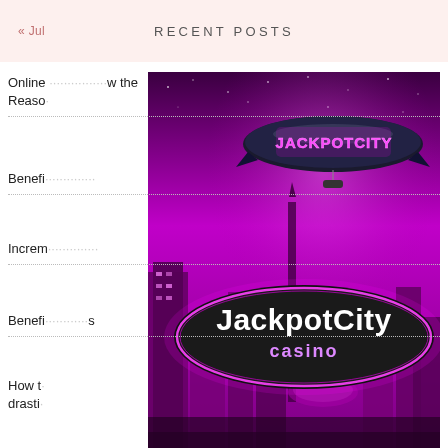« Jul    RECENT POSTS
Online … w the Reasons
Benefi…
Increm…
Benefi… s
How t… drasti…
[Figure (illustration): JackpotCity Casino promotional image featuring a blimp with 'JACKPOTCITY' text flying over a magenta-tinted city skyline at night, with a large oval logo reading 'JackpotCity casino' in the foreground.]